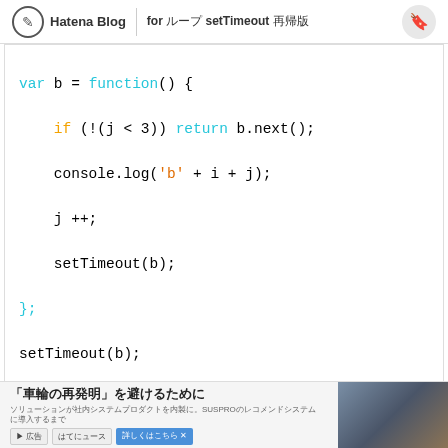Hatena Blog | for ループ setTimeout 再帰版
[Figure (screenshot): JavaScript code block showing function b with setTimeout recursion and b.next function with var k and var c declarations]
[Figure (photo): Advertisement banner: 「車輪の再発明」を避けるために with image of three people]